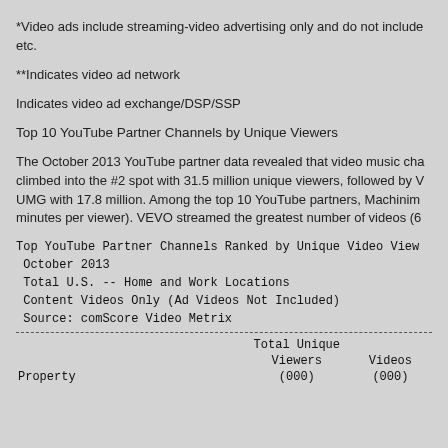*Video ads include streaming-video advertising only and do not include etc.
**Indicates video ad network
Indicates video ad exchange/DSP/SSP
Top 10 YouTube Partner Channels by Unique Viewers
The October 2013 YouTube partner data revealed that video music channels climbed into the #2 spot with 31.5 million unique viewers, followed by VEVO UMG with 17.8 million. Among the top 10 YouTube partners, Machinima minutes per viewer). VEVO streamed the greatest number of videos (6
| Property | Total Unique Viewers (000) | Videos (000) |
| --- | --- | --- |